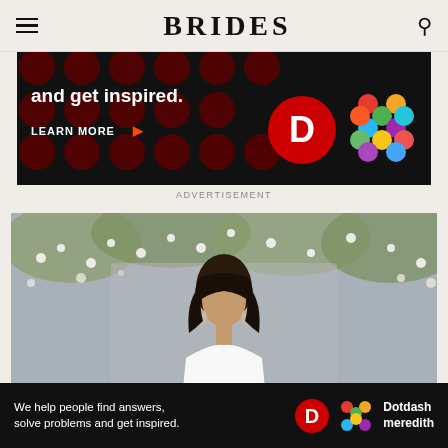BRIDES
[Figure (screenshot): Advertisement banner with black background, dark red polka dots, white text 'and get inspired.' with red period, 'LEARN MORE' with orange arrow, D logo in red circle, and colorful Dotdash Meredith lattice logo]
ADVERTISEMENT
[Figure (photo): Dark-haired model wearing white bridal gown with hanging earrings, surrounded by white baby's breath flowers and foliage background]
[Figure (screenshot): Bottom advertisement bar: 'We help people find answers, solve problems and get inspired.' with D logo and Dotdash meredith branding]